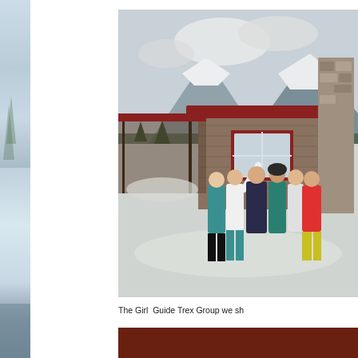[Figure (photo): Left edge strip showing partial outdoor winter scene, light blue-grey tones, partially visible]
[Figure (photo): Group of girls (Girl Guide Trex Group) standing in front of a brown wooden chalet-style building with red trim and stone chimney, snow on the ground, snowy mountains and trees in background, wearing colorful winter jackets]
The Girl  Guide Trex Group we sh